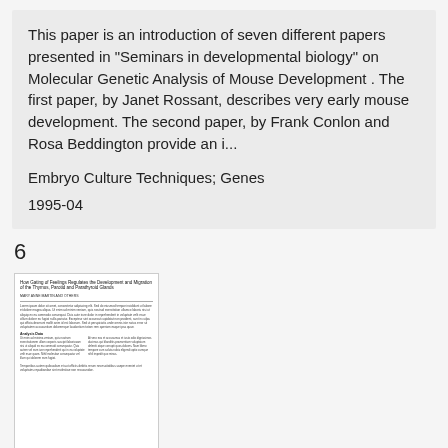This paper is an introduction of seven different papers presented in "Seminars in developmental biology" on Molecular Genetic Analysis of Mouse Development . The first paper, by Janet Rossant, describes very early mouse development. The second paper, by Frank Conlon and Rosa Beddington provide an i...
Embryo Culture Techniques; Genes
1995-04
6
[Figure (other): Thumbnail preview of a document page showing a scientific paper with title, authors, and body text in two columns.]